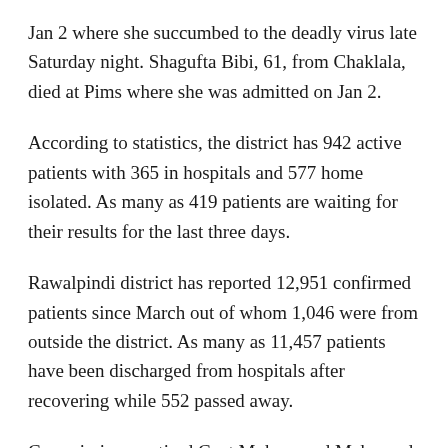Jan 2 where she succumbed to the deadly virus late Saturday night. Shagufta Bibi, 61, from Chaklala, died at Pims where she was admitted on Jan 2.
According to statistics, the district has 942 active patients with 365 in hospitals and 577 home isolated. As many as 419 patients are waiting for their results for the last three days.
Rawalpindi district has reported 12,951 confirmed patients since March out of whom 1,046 were from outside the district. As many as 11,457 patients have been discharged from hospitals after recovering while 552 passed away.
Commissioner retired Capt Mohammad Mehmood told Dawn that the number of serious patients was gradually increasing as five were on ventilators, 72 required oxygen and 10 were being kept in room temperature.